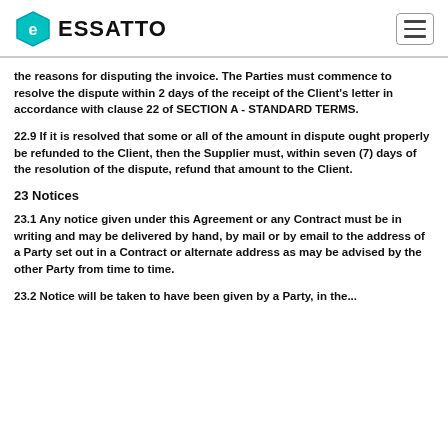ESSATTO
the reasons for disputing the invoice. The Parties must commence to resolve the dispute within 2 days of the receipt of the Client's letter in accordance with clause 22 of SECTION A - STANDARD TERMS.
22.9 If it is resolved that some or all of the amount in dispute ought properly be refunded to the Client, then the Supplier must, within seven (7) days of the resolution of the dispute, refund that amount to the Client.
23 Notices
23.1 Any notice given under this Agreement or any Contract must be in writing and may be delivered by hand, by mail or by email to the address of a Party set out in a Contract or alternate address as may be advised by the other Party from time to time.
23.2 Notice will be taken to have been given by a Party, in the...